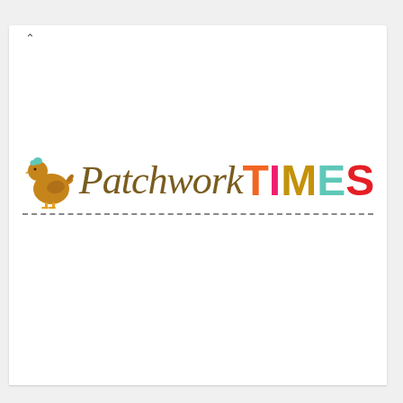[Figure (logo): Patchwork Times logo with a golden hen illustration on the left, cursive dark-gold 'Patchwork' text, and bold colorful 'TIMES' text (T=orange, I=pink, M=gold, E=teal, S=red), with a dashed line underneath.]